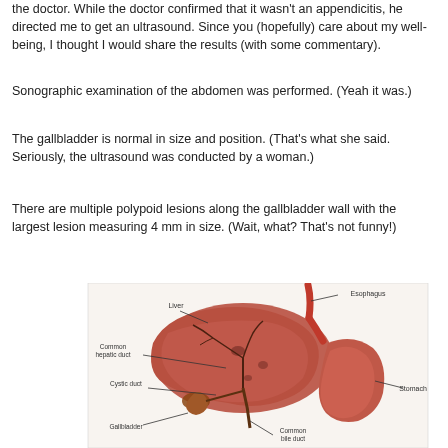the doctor. While the doctor confirmed that it wasn't an appendicitis, he directed me to get an ultrasound. Since you (hopefully) care about my well-being, I thought I would share the results (with some commentary).
Sonographic examination of the abdomen was performed. (Yeah it was.)
The gallbladder is normal in size and position. (That's what she said. Seriously, the ultrasound was conducted by a woman.)
There are multiple polypoid lesions along the gallbladder wall with the largest lesion measuring 4 mm in size. (Wait, what? That's not funny!)
[Figure (illustration): Anatomical illustration of the liver, gallbladder, esophagus, stomach, and bile ducts with labeled structures including Liver, Esophagus, Common hepatic duct, Cystic duct, Gallbladder, Common bile duct, and Stomach.]